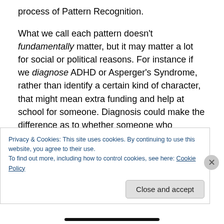process of Pattern Recognition.
What we call each pattern doesn't fundamentally matter, but it may matter a lot for social or political reasons. For instance if we diagnose ADHD or Asperger's Syndrome, rather than identify a certain kind of character, that might mean extra funding and help at school for someone. Diagnosis could make the difference as to whether someone who offended got sent to jail or hospital.
These issues largely flow from the way society is
Privacy & Cookies: This site uses cookies. By continuing to use this website, you agree to their use.
To find out more, including how to control cookies, see here: Cookie Policy
Close and accept